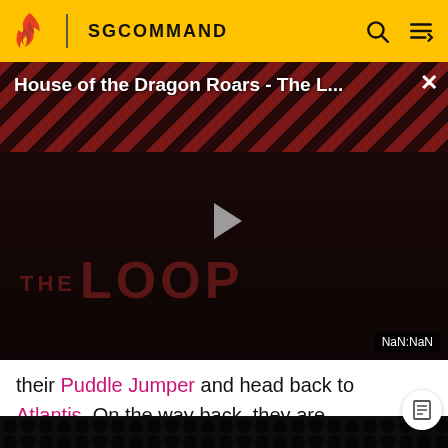SGCOMMAND
[Figure (screenshot): Video thumbnail with title 'House of the Dragon Roars - The L...' showing a dark video player with 'THE LOOP' text overlay, a play button, diagonal red-black stripe background, and 'NaN:NaN' duration badge]
their Puddle Jumper and head back to Atlantis. On the way back, they are attacked by three Wraith warriors.
[Figure (photo): Bottom strip of a dark panel/grid image with a person visible]